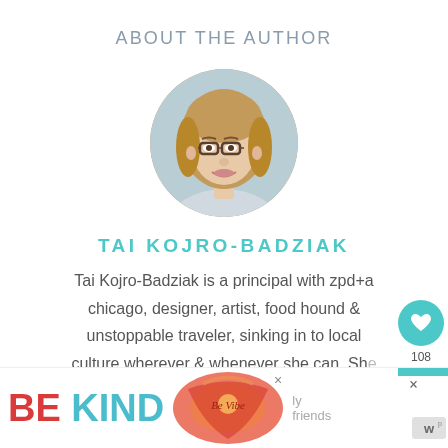ABOUT THE AUTHOR
[Figure (photo): Circular author headshot photo of Tai Kojro-Badziak, a woman with brown hair and glasses, on a white/light background]
TAI KOJRO-BADZIAK
Tai Kojro-Badziak is a principal with zpd+a chicago, designer, artist, food hound & unstoppable traveler, sinking in to local culture wherever & whenever she can. She...
[Figure (infographic): Bottom advertisement banner with 'BE KIND' text in red and teal, decorative floral illustration, close buttons, and a 'w' logo watermark. Also includes UI elements: heart icon button, share button, and count '108'.]